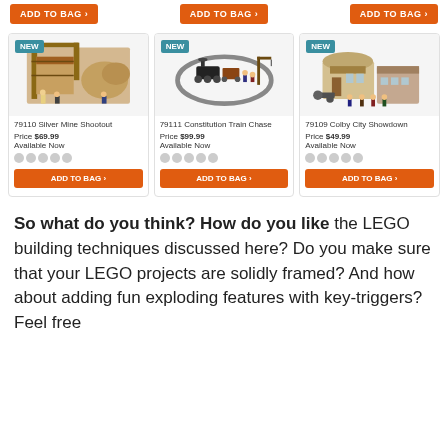[Figure (other): Three 'ADD TO BAG' orange buttons at the top of the page, one per product column]
[Figure (other): Three LEGO product cards: 79110 Silver Mine Shootout, 79111 Constitution Train Chase, 79109 Colby City Showdown, each with NEW badge, product image, title, price, availability, star rating, and ADD TO BAG button]
So what do you think? How do you like the LEGO building techniques discussed here? Do you make sure that your LEGO projects are solidly framed? And how about adding fun exploding features with key-triggers? Feel free to leave your comments below!